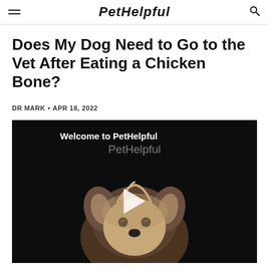PetHelpful
Does My Dog Need to Go to the Vet After Eating a Chicken Bone?
DR MARK • APR 18, 2022
[Figure (screenshot): Video thumbnail showing a Yorkshire Terrier dog against a dark background with 'Welcome to PetHelpful' text overlay and a play button]